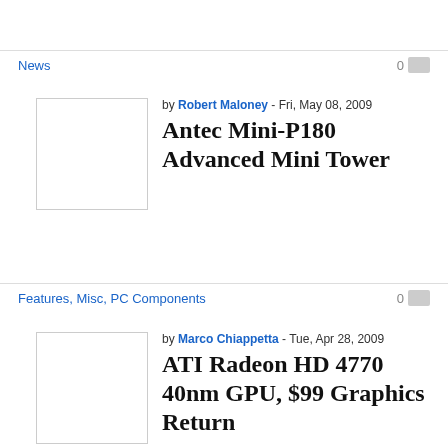News
by Robert Maloney - Fri, May 08, 2009
Antec Mini-P180 Advanced Mini Tower
[Figure (photo): Thumbnail image placeholder for Antec Mini-P180 article]
Features, Misc, PC Components
by Marco Chiappetta - Tue, Apr 28, 2009
ATI Radeon HD 4770 40nm GPU, $99 Graphics Return
[Figure (photo): Thumbnail image placeholder for ATI Radeon HD 4770 article]